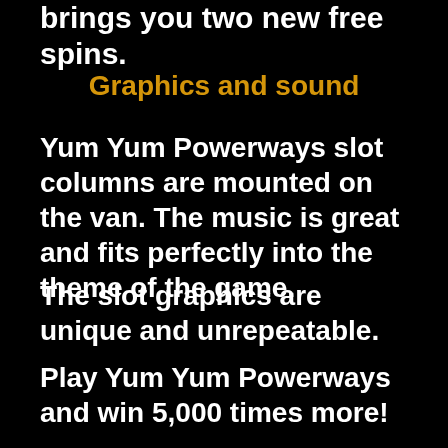brings you two new free spins.
Graphics and sound
Yum Yum Powerways slot columns are mounted on the van. The music is great and fits perfectly into the theme of the game.
The slot graphics are unique and unrepeatable.
Play Yum Yum Powerways and win 5,000 times more!